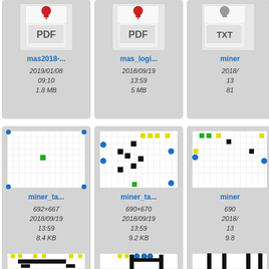[Figure (screenshot): File browser grid showing file cards with PDF and image thumbnails. Row 1: mas2018-... (PDF, 2019/01/08 09:10, 1.8 MB), mas_logi... (PDF, 2018/09/19 13:59, 5 MB), miner... (TXT, 2018/... 13..., 81...). Row 2: miner_ta... (image 692x667, 2018/09/19 13:59, 8.4 KB), miner_ta... (image 690x670, 2018/09/19 13:59, 9.2 KB), miner... (image 690..., 2018/... 13..., 9.8...). Row 3: three more image thumbnails partially visible.]